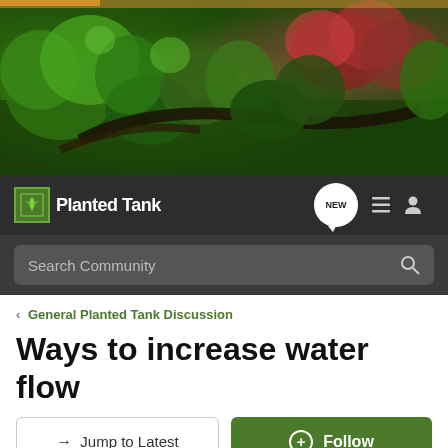[Figure (photo): Planted aquarium banner photo showing lush green aquatic plants, driftwood, and red/pink plants in a naturalistic aquascape layout]
PlantedTank
Search Community
< General Planted Tank Discussion
Ways to increase water flow
→ Jump to Latest
+ Follow
1 - 10 of 10 Posts
meowschwitz · Registered 🇺🇸
Joined Sep 6, 2011 · 763 Posts